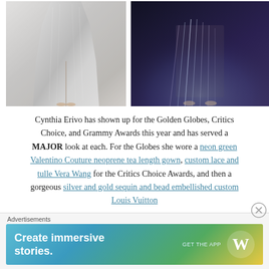[Figure (photo): Two fashion photos side by side: left shows bottom half of silver/metallic sequin gown with slit, right shows dark atmospheric photo of feathered/pleated dress with misty smoke effect]
Cynthia Erivo has shown up for the Golden Globes, Critics Choice, and Grammy Awards this year and has served a MAJOR look at each. For the Globes she wore a neon green Valentino Couture neoprene tea length gown, custom lace and tulle Vera Wang for the Critics Choice Awards, and then a gorgeous silver and gold sequin and bead embellished custom Louis Vuitton
Advertisements
[Figure (screenshot): WordPress advertisement banner: 'Create immersive stories.' with GET THE APP button and WordPress W logo, gradient teal to green to yellow background]